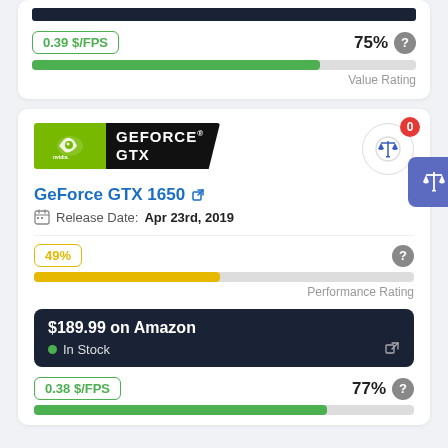[Figure (infographic): Top card partial: dark bar at top, 0.39 $/FPS badge, 75% label with question icon, green progress bar at ~75%, Value Rating label]
[Figure (logo): NVIDIA GeForce GTX logo with green and black background]
GeForce GTX 1650 [external link icon]
Release Date: Apr 23rd, 2019
49%
Performance Rating
$189.99 on Amazon
In Stock
0.38 $/FPS
77%